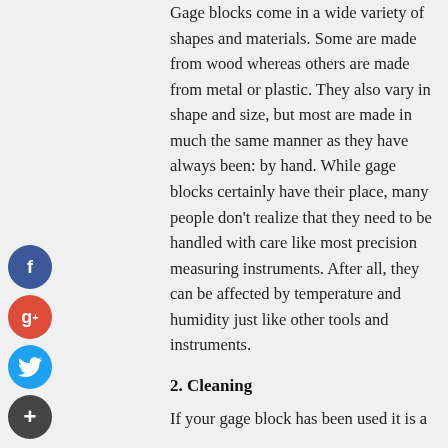Gage blocks come in a wide variety of shapes and materials. Some are made from wood whereas others are made from metal or plastic. They also vary in shape and size, but most are made in much the same manner as they have always been: by hand. While gage blocks certainly have their place, many people don't realize that they need to be handled with care like most precision measuring instruments. After all, they can be affected by temperature and humidity just like other tools and instruments.
[Figure (infographic): Social media sharing icons: Facebook (blue circle with 'f'), Google+ (red circle with 'g+'), Twitter (blue circle with bird), and a dark plus circle, arranged vertically on the left side of the page.]
2. Cleaning
If your gage block has been used it is a